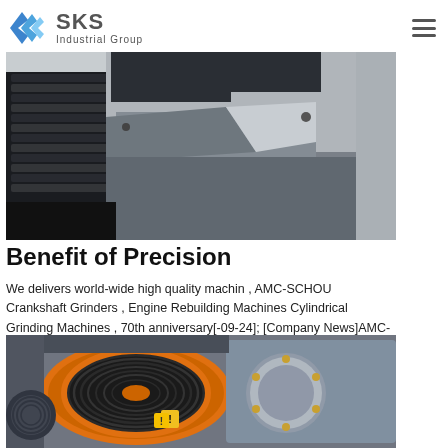SKS Industrial Group
[Figure (photo): Close-up of industrial grinding machine showing belt drive, motor, and metal frame in a factory setting]
Benefit of Precision
We delivers world-wide high quality machin , AMC-SCHOU Crankshaft Grinders , Engine Rebuilding Machines Cylindrical Grinding Machines , 70th anniversary[-09-24]; [Company News]AMC-SCHOU(China) Mechanic.
[Figure (photo): Close-up of industrial grinding wheel/crankshaft grinder with orange housing and black grooved grinding wheel]